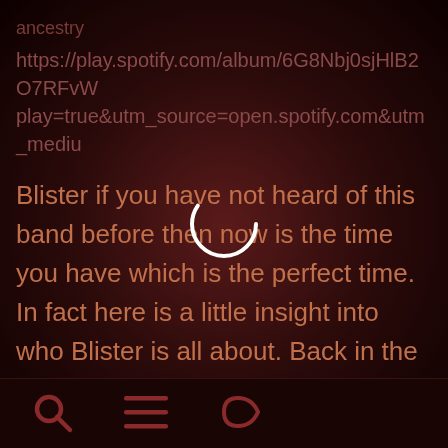ancestry
https://play.spotify.com/album/6G8Nbj0sjHlB2O7RFvW play=true&utm_source=open.spotify.com&utm_mediu
Blister if you have not heard of this band before then now is the time you have which is the perfect time. In fact here is a little insight into who Blister is all about. Back in the day dating back to 1996 the band got together wanting to do what any other artist or band wanted to do, make music and see where it would take them. Which is why we are here
[Figure (other): Loading spinner circle overlay in center of page]